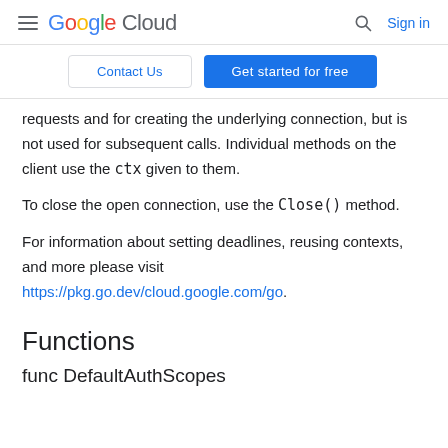Google Cloud  Sign in
Contact Us  Get started for free
requests and for creating the underlying connection, but is not used for subsequent calls. Individual methods on the client use the ctx given to them.
To close the open connection, use the Close() method.
For information about setting deadlines, reusing contexts, and more please visit https://pkg.go.dev/cloud.google.com/go.
Functions
func DefaultAuthScopes